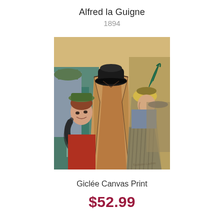Alfred la Guigne
1894
[Figure (illustration): Toulouse-Lautrec painting 'Alfred la Guigne' (1894) showing figures in a cafe scene: a man in a bowler hat and tan coat seen from behind center, a woman with red feather boa and green hat to his left, a blonde woman in striped skirt to his right, background figures in a colorful interior.]
Giclée Canvas Print
$52.99